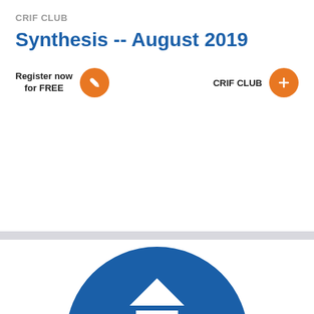CRIF CLUB
Synthesis -- August 2019
Register now for FREE
CRIF CLUB
[Figure (logo): CRIF logo — dark blue circular shape with a house outline and an @ symbol inside, partially visible at bottom of page]